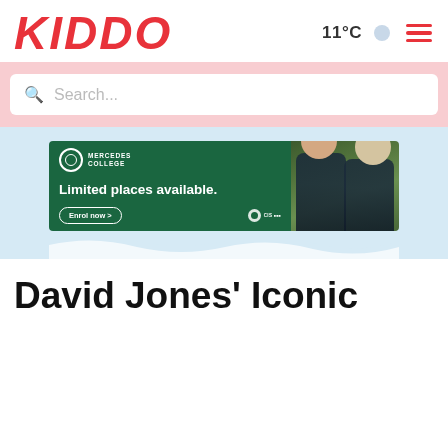KIDDO | 11°C ☁ ☰
Search...
[Figure (screenshot): Mercedes College advertisement banner. Green background with text 'MERCEDES COLLEGE', 'Limited places available.', 'Enrol now >' button, CIS logo, and photo of two school children in uniform sitting together.]
David Jones' Iconic